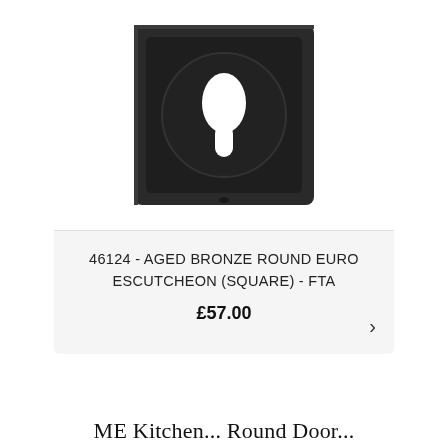[Figure (photo): Dark aged bronze square euro escutcheon keyhole plate viewed from above, showing a circular recessed area with euro keyhole cutout, on a white background]
46124 - AGED BRONZE ROUND EURO ESCUTCHEON (SQUARE) - FTA
£57.00
ME Kitchen... Round Door...